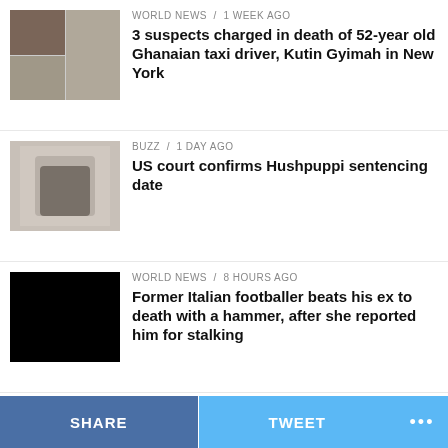[Figure (photo): Thumbnail collage: face on left, surveillance-style scene on right]
WORLD NEWS / 1 week ago
3 suspects charged in death of 52-year old Ghanaian taxi driver, Kutin Gyimah in New York
[Figure (photo): Man in white hoodie standing indoors]
BUZZ / 1 day ago
US court confirms Hushpuppi sentencing date
[Figure (photo): Black/redacted image]
WORLD NEWS / 8 hours ago
Former Italian footballer beats his ex to death with a hammer, after she reported him for stalking
[Figure (photo): Black/redacted image]
BUZZ / 6 days ago
I have acted in p0rno before- Wisa Greid reveals
[Figure (photo): Black/redacted image (partial)]
BUZZ / 4 days ago
SHARE
TWEET